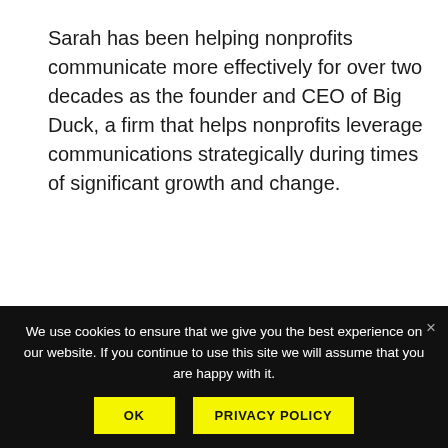Sarah has been helping nonprofits communicate more effectively for over two decades as the founder and CEO of Big Duck, a firm that helps nonprofits leverage communications strategically during times of significant growth and change.
More about Sarah
Our Services
Work
Insights
We use cookies to ensure that we give you the best experience on our website. If you continue to use this site we will assume that you are happy with it.
OK
PRIVACY POLICY